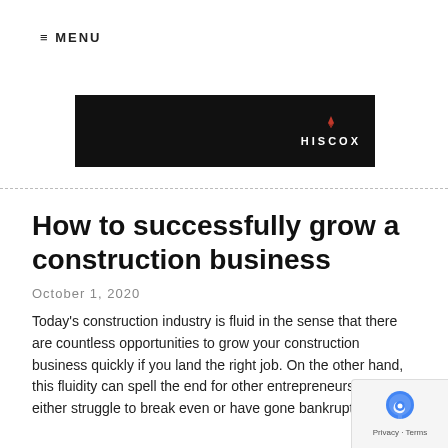≡ MENU
[Figure (other): Hiscox advertisement banner — black background with Hiscox logo (flame icon and HISCOX text in white) on the right side]
How to successfully grow a construction business
October 1, 2020
Today's construction industry is fluid in the sense that there are countless opportunities to grow your construction business quickly if you land the right job. On the other hand, this fluidity can spell the end for other entrepreneurs who either struggle to break even or have gone bankrupt.